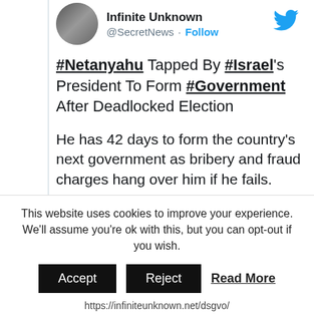Infinite Unknown @SecretNews · Follow
#Netanyahu Tapped By #Israel's President To Form #Government After Deadlocked Election
He has 42 days to form the country's next government as bribery and fraud charges hang over him if he fails.
#BreakingNews
zerohedge.com/political/isra...
This website uses cookies to improve your experience. We'll assume you're ok with this, but you can opt-out if you wish. Accept Reject Read More https://infiniteunknown.net/dsgvo/